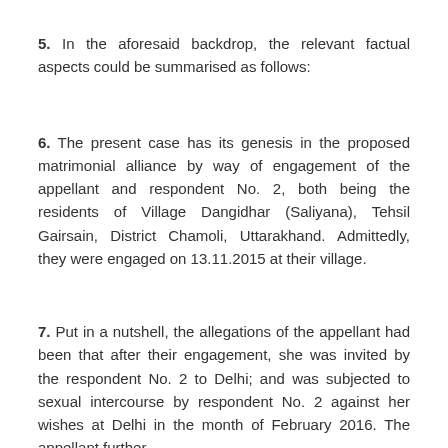5. In the aforesaid backdrop, the relevant factual aspects could be summarised as follows:
6. The present case has its genesis in the proposed matrimonial alliance by way of engagement of the appellant and respondent No. 2, both being the residents of Village Dangidhar (Saliyana), Tehsil Gairsain, District Chamoli, Uttarakhand. Admittedly, they were engaged on 13.11.2015 at their village.
7. Put in a nutshell, the allegations of the appellant had been that after their engagement, she was invited by the respondent No. 2 to Delhi; and was subjected to sexual intercourse by respondent No. 2 against her wishes at Delhi in the month of February 2016. The appellant further